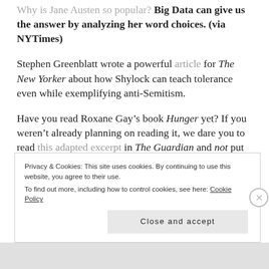Why is Jane Austen so popular? Big Data can give us the answer by analyzing her word choices. (via NYTimes)
Stephen Greenblatt wrote a powerful article for The New Yorker about how Shylock can teach tolerance even while exemplifying anti-Semitism.
Have you read Roxane Gay’s book Hunger yet? If you weren’t already planning on reading it, we dare you to read this adapted excerpt in The Guardian and not put it on your Amazon wish list.
Privacy & Cookies: This site uses cookies. By continuing to use this website, you agree to their use. To find out more, including how to control cookies, see here: Cookie Policy Close and accept